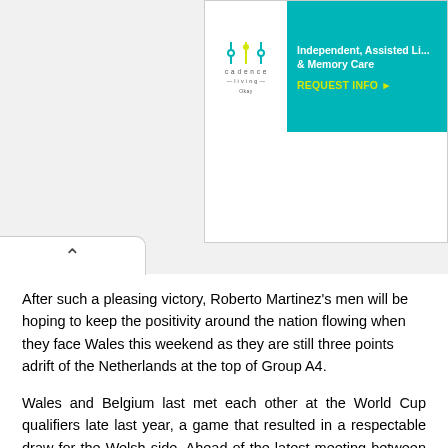[Figure (screenshot): Advertisement banner for Cadence Living - Independent, Assisted Living & Memory Care with teal background and yellow REQUEST INFO button]
After such a pleasing victory, Roberto Martinez's men will be hoping to keep the positivity around the nation flowing when they face Wales this weekend as they are still three points adrift of the Netherlands at the top of Group A4.
Wales and Belgium last met each other at the World Cup qualifiers late last year, a game that resulted in a respectable draw for the Welsh side. Ahead of the latest meeting between the two sides, The Hard Tackle takes a closer look at the encounter.
Team News & Tactics
Wales